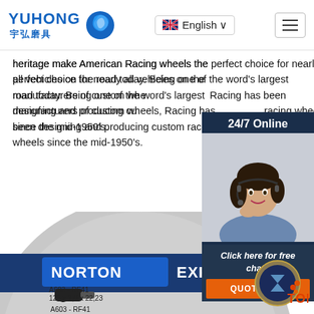[Figure (logo): Yuhong logo with Chinese characters and blue wave/globe icon, navigation bar with English language selector and hamburger menu]
heritage make American Racing wheels the perfect choice for nearly all vehicles on the road today. Being one of the word's largest manufacturers of custom wheels, American Racing has been designing and producing custom and high-performance racing wheels since the mid-1950's.
Get Price
[Figure (photo): 24/7 Online chat overlay panel showing a female customer service agent with headset, with 'Click here for free chat!' and QUOTATION button]
[Figure (photo): Norton Expert cutting disc/wheel product image showing disc with blue label, specifications A603-RF41, 125x1.0x22.23]
[Figure (other): TOP award badge/medallion in lower right corner]